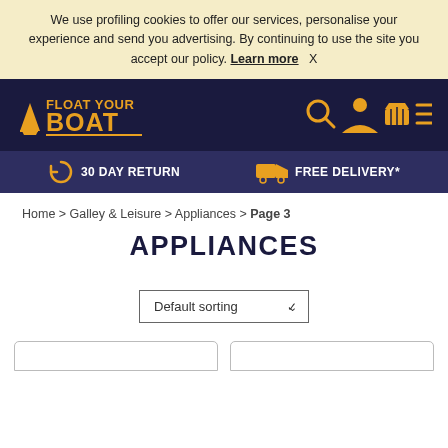We use profiling cookies to offer our services, personalise your experience and send you advertising. By continuing to use the site you accept our policy. Learn more   X
[Figure (logo): Float Your Boat logo - gold boat and text on dark navy background with navigation icons (search, user, basket, menu)]
30 DAY RETURN   FREE DELIVERY*
Home > Galley & Leisure > Appliances > Page 3
APPLIANCES
Default sorting